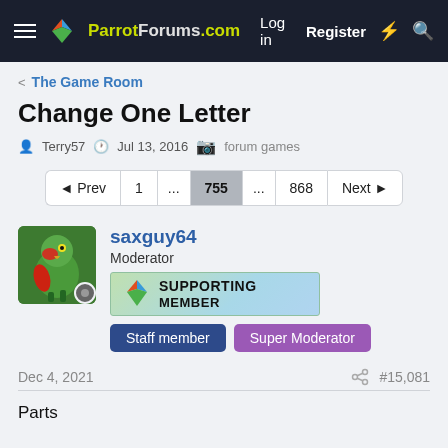ParrotForums.com  Log in  Register
< The Game Room
Change One Letter
Terry57  Jul 13, 2016  forum games
◄ Prev  1  ...  755  ...  868  Next ►
saxguy64
Moderator
Supporting Member
Staff member  Super Moderator
Dec 4, 2021  #15,081
Parts